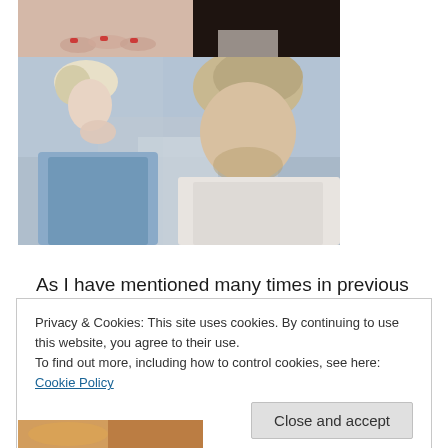[Figure (photo): Top portion of photo showing hands with red nails on the left and a person in dark clothing on the right]
[Figure (photo): Photo of a woman in a blue top with hands near her face on the left, and a man with medium-length hair in a white shirt on the right, outdoor blurred background]
As I have mentioned many times in previous posts,
Privacy & Cookies: This site uses cookies. By continuing to use this website, you agree to their use.
To find out more, including how to control cookies, see here: Cookie Policy
Close and accept
[Figure (photo): Partial photo at bottom showing a food or person image in warm orange/brown tones]